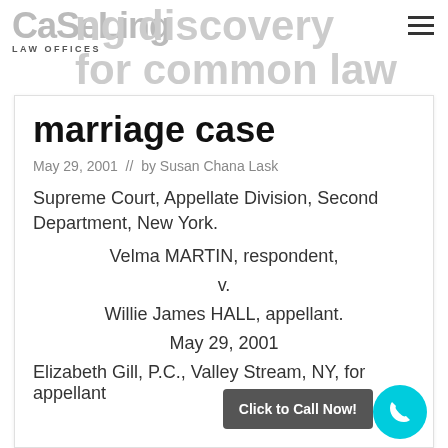Caseling discovery for common law
marriage case
May 29, 2001  //  by Susan Chana Lask
Supreme Court, Appellate Division, Second Department, New York.
Velma MARTIN, respondent,
v.
Willie James HALL, appellant.
May 29, 2001
Elizabeth Gill, P.C., Valley Stream, NY, for appellant